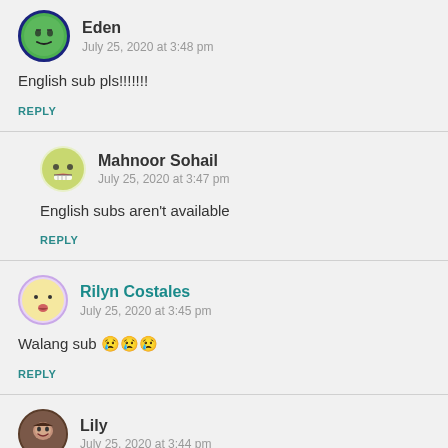Eden
July 25, 2020 at 3:48 pm
English sub pls!!!!!!!
REPLY
Mahnoor Sohail
July 25, 2020 at 3:47 pm
English subs aren't available
REPLY
Rilyn Costales
July 25, 2020 at 3:45 pm
Walang sub 😢😢😢
REPLY
Lily
July 25, 2020 at 3:44 pm
no eng sub 😢😢😢